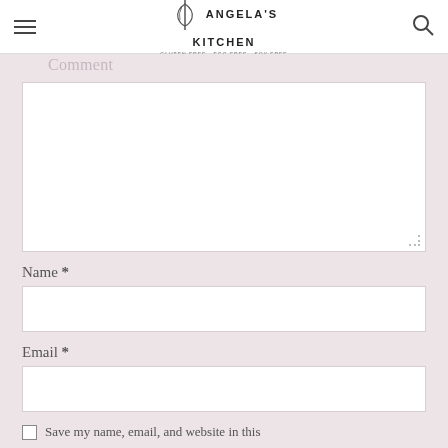Angela's Kitchen
Comment
[Figure (other): Comment text area input field, empty white rectangle with resize handle]
Name *
[Figure (other): Name text input field, empty white rectangle]
Email *
[Figure (other): Email text input field, empty white rectangle]
Save my name, email, and website in this